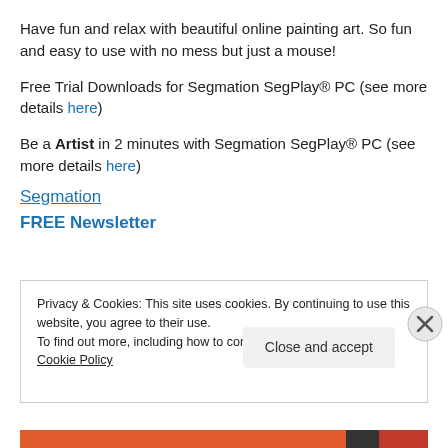Have fun and relax with beautiful online painting art. So fun and easy to use with no mess but just a mouse!
Free Trial Downloads for Segmation SegPlay® PC (see more details here)
Be a Artist in 2 minutes with Segmation SegPlay® PC (see more details here)
Segmation
FREE Newsletter
Privacy & Cookies: This site uses cookies. By continuing to use this website, you agree to their use.
To find out more, including how to control cookies, see here: Cookie Policy